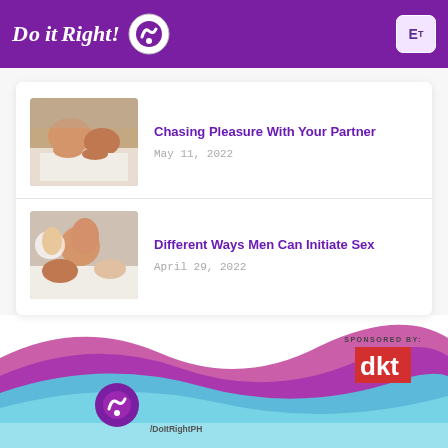Do It Right!
[Figure (photo): Couple lying in bed together, intimate setting]
Chasing Pleasure With Your Partner
May 11, 2022
[Figure (photo): Couple lying in bed, man and woman smiling]
Different Ways Men Can Initiate Sex
April 29, 2022
SPONSORED BY: dkt  /DoItRightPH